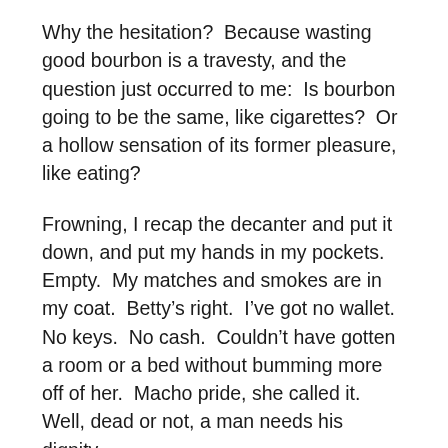Why the hesitation?  Because wasting good bourbon is a travesty, and the question just occurred to me:  Is bourbon going to be the same, like cigarettes?  Or a hollow sensation of its former pleasure, like eating?
Frowning, I recap the decanter and put it down, and put my hands in my pockets.  Empty.  My matches and smokes are in my coat.  Betty’s right.  I’ve got no wallet.  No keys.  No cash.  Couldn’t have gotten a room or a bed without bumming more off of her.  Macho pride, she called it.  Well, dead or not, a man needs his dignity.
“Anyone here mind if I smoke?”